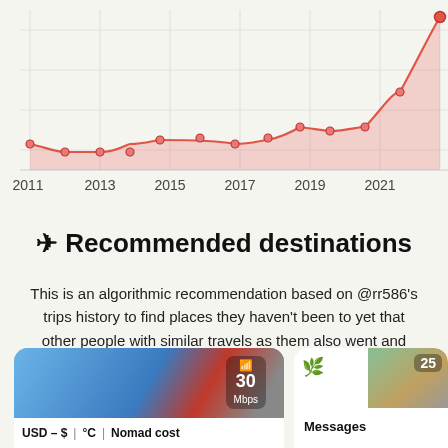[Figure (area-chart): Trips over years]
✈ Recommended destinations
This is an algorithmic recommendation based on @rr586's trips history to find places they haven't been to yet that other people with similar travels as them also went and liked.
[Figure (photo): Travel destination card showing a city view with a tower/bridge, WiFi speed badge showing 30 Mbps, and footer with USD – $ | °C | Nomad cost]
[Figure (photo): Travel destination card with nature/landscape photo, badge showing 25, and Messages label]